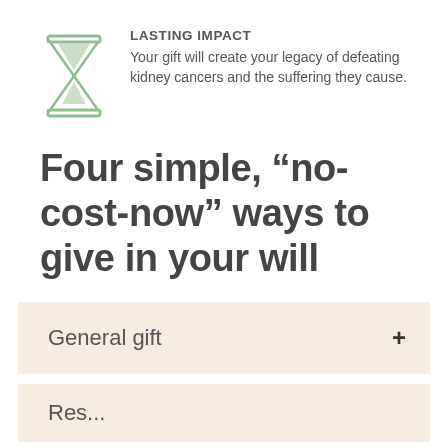[Figure (illustration): Hourglass icon in light green/sage color outline style]
LASTING IMPACT
Your gift will create your legacy of defeating kidney cancers and the suffering they cause.
Four simple, “no-cost-now” ways to give in your will
General gift +
Res...